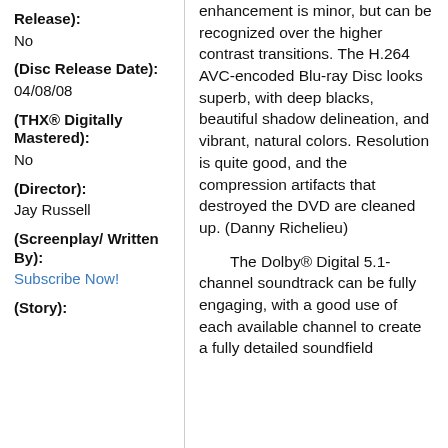(Release): No
(Disc Release Date): 04/08/08
(THX® Digitally Mastered): No
(Director): Jay Russell
(Screenplay/ Written By): Subscribe Now!
(Story):
enhancement is minor, but can be recognized over the higher contrast transitions. The H.264 AVC-encoded Blu-ray Disc looks superb, with deep blacks, beautiful shadow delineation, and vibrant, natural colors. Resolution is quite good, and the compression artifacts that destroyed the DVD are cleaned up. (Danny Richelieu)
The Dolby® Digital 5.1-channel soundtrack can be fully engaging, with a good use of each available channel to create a fully detailed soundfield